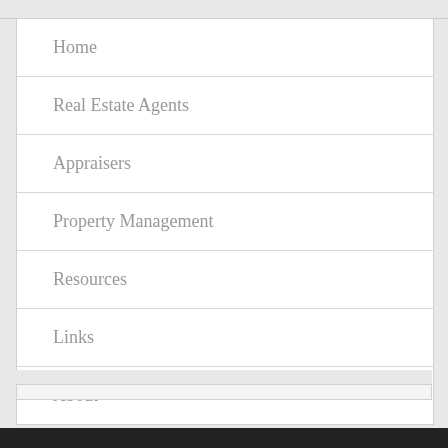Home
Real Estate Agents
Appraisers
Property Management
Resources
Links
About